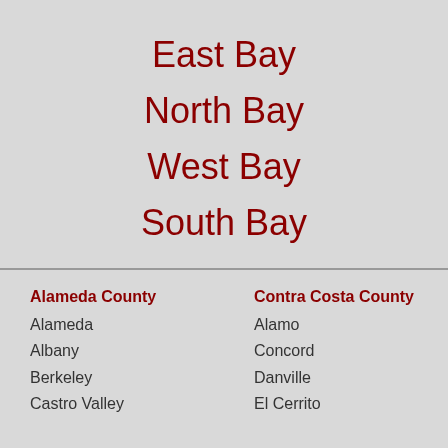East Bay
North Bay
West Bay
South Bay
Alameda County
Alameda
Albany
Berkeley
Castro Valley
Contra Costa County
Alamo
Concord
Danville
El Cerrito